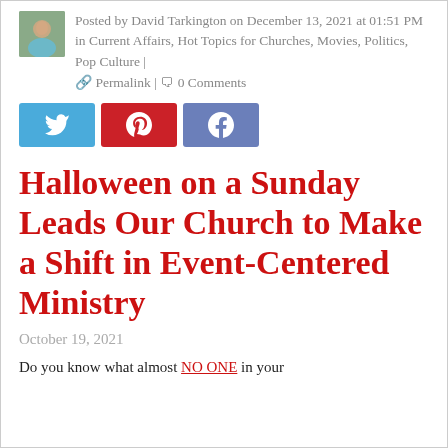Posted by David Tarkington on December 13, 2021 at 01:51 PM in Current Affairs, Hot Topics for Churches, Movies, Politics, Pop Culture | Permalink | 0 Comments
[Figure (infographic): Three social media share buttons: Twitter (blue), Pinterest (red), Facebook (blue-grey)]
Halloween on a Sunday Leads Our Church to Make a Shift in Event-Centered Ministry
October 19, 2021
Do you know what almost NO ONE in your